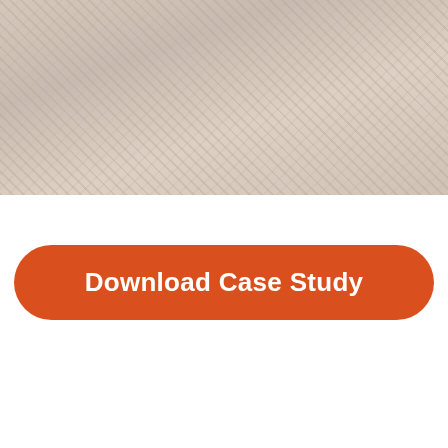[Figure (photo): Background image area at top of page showing a textured/blurred photographic background]
Download Case Study